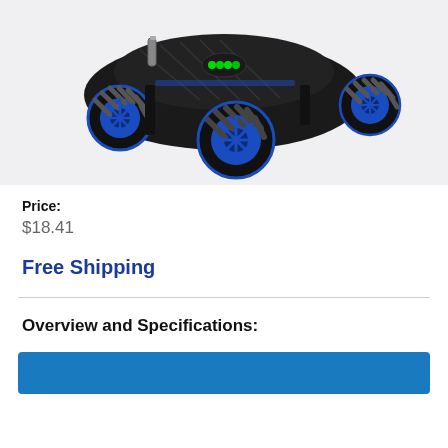[Figure (photo): RC toy car with black body, blue and black Mecanum wheels, and green LED lights, photographed on white background.]
Price:
$18.41
Free Shipping
Overview and Specifications:
[Figure (other): Blue banner bar at the bottom of the page.]